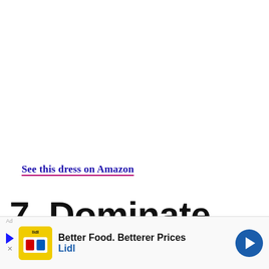See this dress on Amazon
7. Dominate the stage in this Kate Kasin sequined
[Figure (other): Advertisement banner for Lidl: 'Better Food. Betterer Prices Lidl' with yellow Lidl logo image and blue navigation arrow icon]